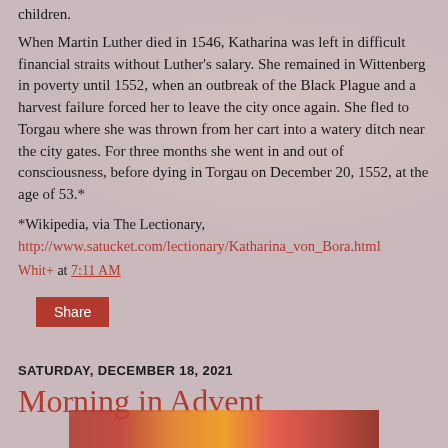children.
When Martin Luther died in 1546, Katharina was left in difficult financial straits without Luther's salary. She remained in Wittenberg in poverty until 1552, when an outbreak of the Black Plague and a harvest failure forced her to leave the city once again. She fled to Torgau where she was thrown from her cart into a watery ditch near the city gates. For three months she went in and out of consciousness, before dying in Torgau on December 20, 1552, at the age of 53.*
*Wikipedia, via The Lectionary,
http://www.satucket.com/lectionary/Katharina_von_Bora.html
Whit+ at 7:11 AM
Share
SATURDAY, DECEMBER 18, 2021
Morning in Advent
[Figure (photo): Colorful decorative image at bottom of page, suggesting advent/Christmas colors in orange, red, and yellow tones]